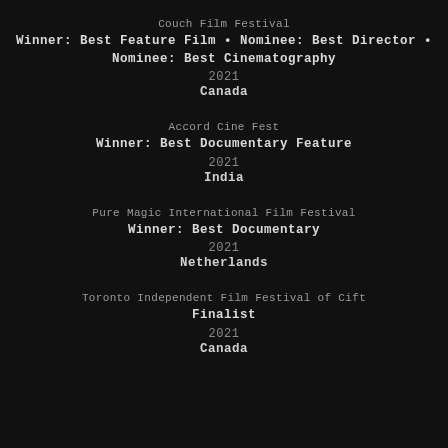Couch Film Festival
Winner: Best Feature Film • Nominee: Best Director • Nominee: Best Cinematography
2021
Canada
Accord Cine Fest
Winner: Best Documentary Feature
2021
India
Pure Magic International Film Festival
Winner: Best Documentary
2021
Netherlands
Toronto Independent Film Festival of Cift
Finalist
2021
Canada